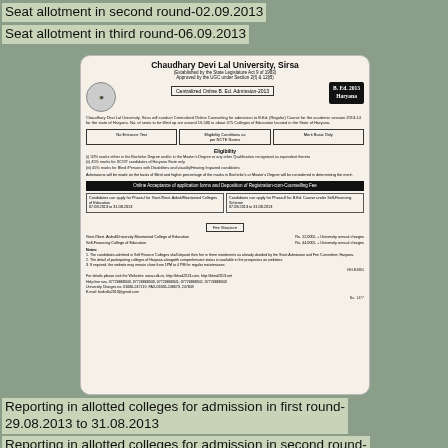Seat allotment in second round-02.09.2013
Seat allotment in third round-06.09.2013
[Figure (other): Advertisement for Chaudhary Devi Lal University, Sirsa - Centralized Online B.Ed. Admission 2013 for Haryana, showing eligibility criteria, fee structure, important dates, and contact information]
Reporting in allotted colleges for admission in first round-29.08.2013 to 31.08.2013
Reporting in allotted colleges for admission in second round-03.09.2013 to 04.09.2013